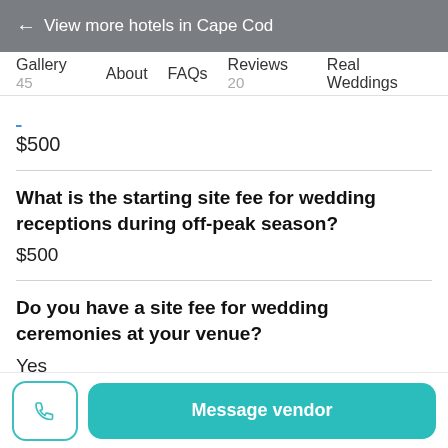← View more hotels in Cape Cod
Gallery 45   About   FAQs   Reviews 20   Real Weddings
$500
What is the starting site fee for wedding receptions during off-peak season?
$500
Do you have a site fee for wedding ceremonies at your venue?
Yes